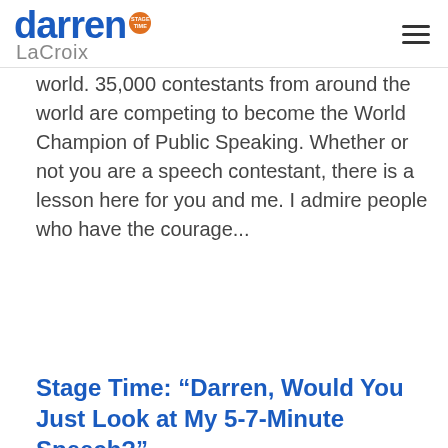darren STAGE TIME LaCroix
world. 35,000 contestants from around the world are competing to become the World Champion of Public Speaking. Whether or not you are a speech contestant, there is a lesson here for you and me. I admire people who have the courage...
CONTINUE READING ▶
Stage Time: “Darren, Would You Just Look at My 5-7-Minute Speech?”